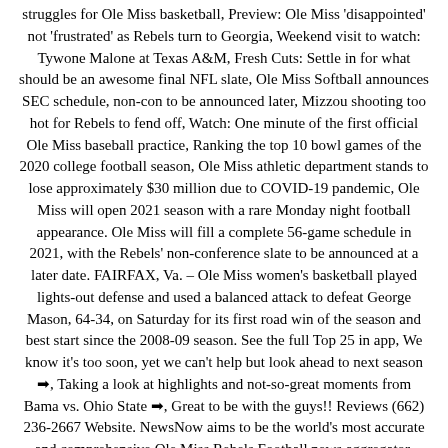struggles for Ole Miss basketball, Preview: Ole Miss 'disappointed' not 'frustrated' as Rebels turn to Georgia, Weekend visit to watch: Tywone Malone at Texas A&M, Fresh Cuts: Settle in for what should be an awesome final NFL slate, Ole Miss Softball announces SEC schedule, non-con to be announced later, Mizzou shooting too hot for Rebels to fend off, Watch: One minute of the first official Ole Miss baseball practice, Ranking the top 10 bowl games of the 2020 college football season, Ole Miss athletic department stands to lose approximately $30 million due to COVID-19 pandemic, Ole Miss will open 2021 season with a rare Monday night football appearance. Ole Miss will fill a complete 56-game schedule in 2021, with the Rebels' non-conference slate to be announced at a later date. FAIRFAX, Va. – Ole Miss women's basketball played lights-out defense and used a balanced attack to defeat George Mason, 64-34, on Saturday for its first road win of the season and best start since the 2008-09 season. See the full Top 25 in app, We know it's too soon, yet we can't help but look ahead to next season ➜, Taking a look at highlights and not-so-great moments from Bama vs. Ohio State ➜, Great to be with the guys!! Reviews (662) 236-2667 Website. NewsNow aims to be the world's most accurate and comprehensive Ole Miss Rebels Football news aggregator, bringing you the latest Ole Miss headlines from the best Rebels sites and other key national and regional sports sources. You can find everything from Rebels infant, baby or kids' apparel and accessories to jerseys and onesies.